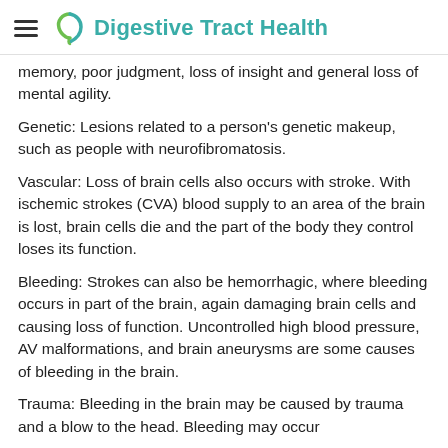Digestive Tract Health
memory, poor judgment, loss of insight and general loss of mental agility.
Genetic: Lesions related to a person's genetic makeup, such as people with neurofibromatosis.
Vascular: Loss of brain cells also occurs with stroke. With ischemic strokes (CVA) blood supply to an area of the brain is lost, brain cells die and the part of the body they control loses its function.
Bleeding: Strokes can also be hemorrhagic, where bleeding occurs in part of the brain, again damaging brain cells and causing loss of function. Uncontrolled high blood pressure, AV malformations, and brain aneurysms are some causes of bleeding in the brain.
Trauma: Bleeding in the brain may be caused by trauma and a blow to the head. Bleeding may occur